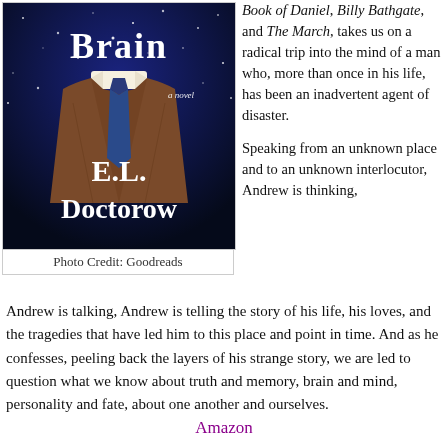[Figure (illustration): Book cover of 'Brain' by E.L. Doctorow — a novel. Cover shows a headless man in a brown suit with a blue tie against a dark starry background. Text reads 'Brain', 'a novel', 'E.L. Doctorow'.]
Photo Credit: Goodreads
Book of Daniel, Billy Bathgate, and The March, takes us on a radical trip into the mind of a man who, more than once in his life, has been an inadvertent agent of disaster.
Speaking from an unknown place and to an unknown interlocutor, Andrew is thinking, Andrew is talking, Andrew is telling the story of his life, his loves, and the tragedies that have led him to this place and point in time. And as he confesses, peeling back the layers of his strange story, we are led to question what we know about truth and memory, brain and mind, personality and fate, about one another and ourselves.
Amazon